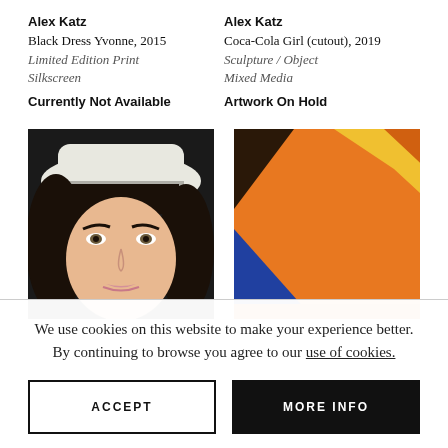Alex Katz
Black Dress Yvonne, 2015
Limited Edition Print
Silkscreen
Currently Not Available
Alex Katz
Coca-Cola Girl (cutout), 2019
Sculpture / Object
Mixed Media
Artwork On Hold
[Figure (photo): Alex Katz portrait painting of a woman with black hair wearing a white hat, on dark background]
[Figure (photo): Partial view of a colorful abstract/geometric artwork with orange, yellow, and blue shapes]
We use cookies on this website to make your experience better. By continuing to browse you agree to our use of cookies.
ACCEPT
MORE INFO